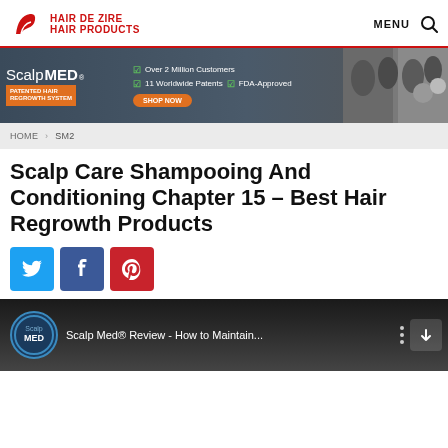HAIR DE ZIRE HAIR PRODUCTS | MENU
[Figure (illustration): ScalpMED advertisement banner - Patented Hair Regrowth System, Over 2 Million Customers, 11 Worldwide Patents, FDA-Approved, Shop Now button]
HOME > SM2
Scalp Care Shampooing And Conditioning Chapter 15 – Best Hair Regrowth Products
[Figure (other): Social share buttons: Twitter, Facebook, Pinterest]
[Figure (screenshot): Video thumbnail: Scalp Med® Review - How to Maintain...]